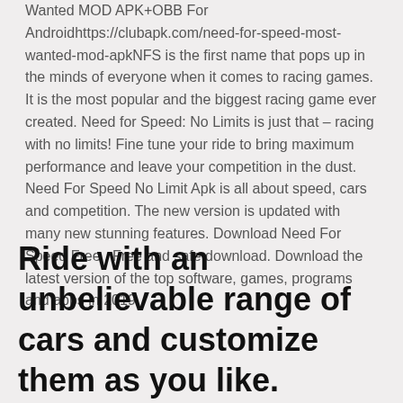Wanted MOD APK+OBB For Androidhttps://clubapk.com/need-for-speed-most-wanted-mod-apkNFS is the first name that pops up in the minds of everyone when it comes to racing games. It is the most popular and the biggest racing game ever created. Need for Speed: No Limits is just that – racing with no limits! Fine tune your ride to bring maximum performance and leave your competition in the dust. Need For Speed No Limit Apk is all about speed, cars and competition. The new version is updated with many new stunning features. Download Need For Speed Free . Free and safe download. Download the latest version of the top software, games, programs and apps in 2019.
Ride with an unbelievable range of cars and customize them as you like. Experience the underground racing in